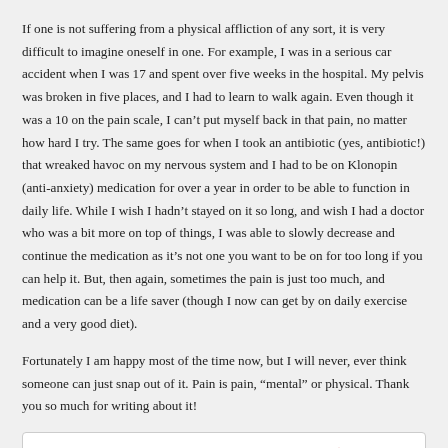If one is not suffering from a physical affliction of any sort, it is very difficult to imagine oneself in one. For example, I was in a serious car accident when I was 17 and spent over five weeks in the hospital. My pelvis was broken in five places, and I had to learn to walk again. Even though it was a 10 on the pain scale, I can't put myself back in that pain, no matter how hard I try. The same goes for when I took an antibiotic (yes, antibiotic!) that wreaked havoc on my nervous system and I had to be on Klonopin (anti-anxiety) medication for over a year in order to be able to function in daily life. While I wish I hadn't stayed on it so long, and wish I had a doctor who was a bit more on top of things, I was able to slowly decrease and continue the medication as it's not one you want to be on for too long if you can help it. But, then again, sometimes the pain is just too much, and medication can be a life saver (though I now can get by on daily exercise and a very good diet).
Fortunately I am happy most of the time now, but I will never, ever think someone can just snap out of it. Pain is pain, “mental” or physical. Thank you so much for writing about it!
Tammy R recently posted..Our Holiday Gift to You